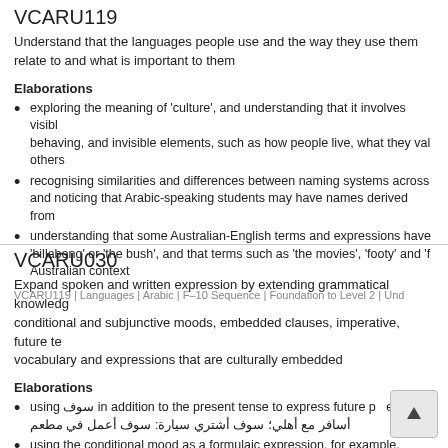VCARU119
Understand that the languages people use and the way they use them relate to and what is important to them
Elaborations
exploring the meaning of 'culture', and understanding that it involves visible elements such as ways of behaving, and invisible elements, such as how people live, what they value, and how they relate to others
recognising similarities and differences between naming systems across cultures and noticing that Arabic-speaking students may have names derived from
understanding that some Australian-English terms and expressions have no Arabic equivalent, such as 'billabong' or 'the bush', and that terms such as 'the movies', 'footy' and 'b' reflect an Australian context
VCARU119 | Languages | Arabic | F–10 Sequence | Foundation to Level 2 | Und
VCARU030
Expand spoken and written expression by extending grammatical knowledge to include conditional and subjunctive moods, embedded clauses, imperative, future tense, and vocabulary and expressions that are culturally embedded
Elaborations
using سوف in addition to the present tense to express future p... ex... أسافر مع أهلي؛ سوف أشتري سيارة: سوف أعمل في مطعم
using the conditional mood as a formulaic expression, for example,